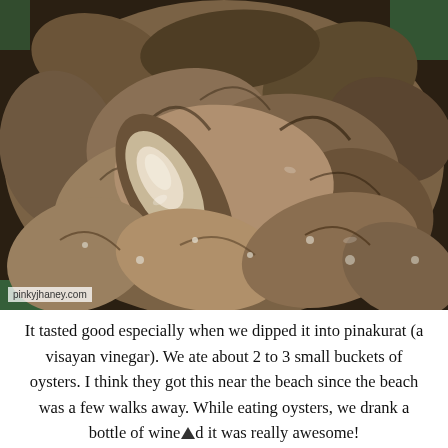[Figure (photo): Close-up photograph of a pile of raw oysters in their shells, with a green basket visible at the edges. A watermark reading 'pinkyjhaney.com' appears in the bottom-left corner.]
It tasted good especially when we dipped it into pinakurat (a visayan vinegar). We ate about 2 to 3 small buckets of oysters. I think they got this near the beach since the beach was a few walks away. While eating oysters, we drank a bottle of wine and it was really awesome!